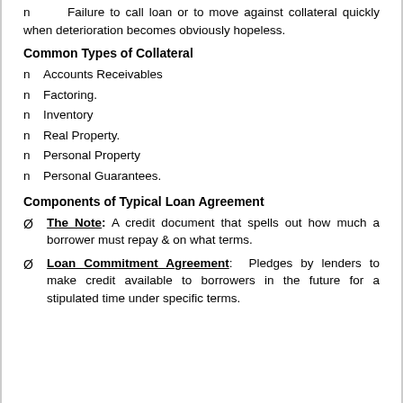n    Failure to call loan or to move against collateral quickly when deterioration becomes obviously hopeless.
Common Types of Collateral
Accounts Receivables
Factoring.
Inventory
Real Property.
Personal Property
Personal Guarantees.
Components of Typical Loan Agreement
Ø    The Note: A credit document that spells out how much a borrower must repay & on what terms.
Ø    Loan Commitment Agreement:  Pledges by lenders to make credit available to borrowers in the future for a stipulated time under specific terms.